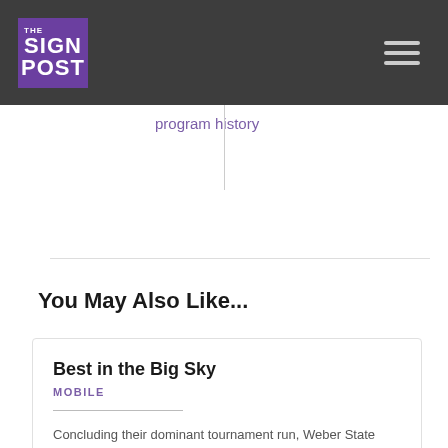THE SIGN POST
program history
You May Also Like...
Best in the Big Sky
MOBILE
Concluding their dominant tournament run, Weber State University's softball team beat Sacramento State University 8–0 during the Big Sky Conference Championship on May 14. After